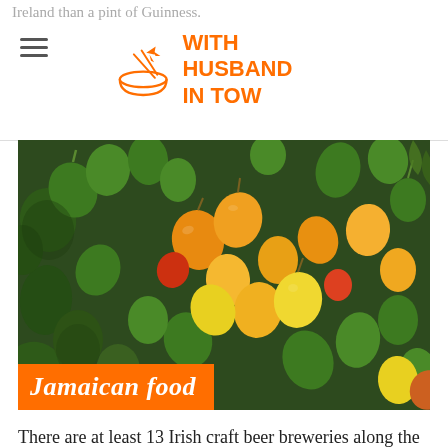Ireland than a pint of Guinness.
[Figure (logo): With Husband In Tow logo — orange bowl with chopsticks and airplane graphic, orange text reading WITH HUSBAND IN TOW]
[Figure (photo): Close-up photograph of a colorful mix of Jamaican scotch bonnet peppers in green, yellow, orange, and red colors piled together, with an orange banner overlay reading 'Jamaican food' in bold italic white text]
There are at least 13 Irish craft beer breweries along the Wild Atlantic Way, from Kinsale in the south of Ireland, all the way up to Donegal in the north, along the border of Northern Ireland. The